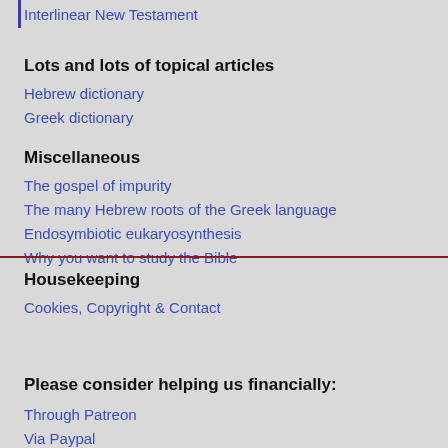Interlinear New Testament
Lots and lots of topical articles
Hebrew dictionary
Greek dictionary
Miscellaneous
The gospel of impurity
The many Hebrew roots of the Greek language
Endosymbiotic eukaryosynthesis
Why you want to study the Bible
Housekeeping
Cookies, Copyright & Contact
Please consider helping us financially:
Through Patreon
Via Paypal